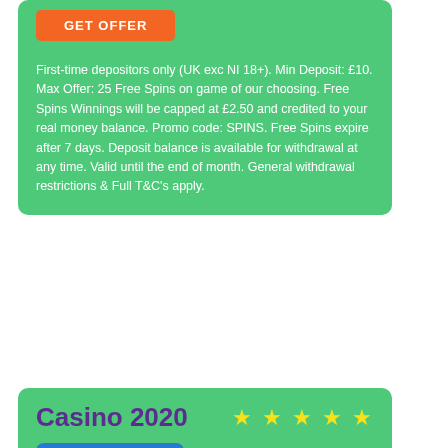[Figure (logo): Orange GET OFFER button at top]
First-time depositors only (UK exc NI 18+). Min Deposit: £10. Max Offer: 25 Free Spins on game of our choosing. Free Spins Winnings will be capped at £2.50 and credited to your real money balance. Promo code: SPINS. Free Spins expire after 7 days. Deposit balance is available for withdrawal at any time. Valid until the end of month. General withdrawal restrictions & Full T&C's apply.
Casino 2020
[Figure (logo): Casino 2020 blue logo with CASINO 20/20 text]
up to 100% up to £300
18+ New Players Only. Terms Apply.
Up to 400 FREE SPINS & up to £300 Welcome Bonus
Full review
[Figure (other): Orange GET OFFER button at bottom]